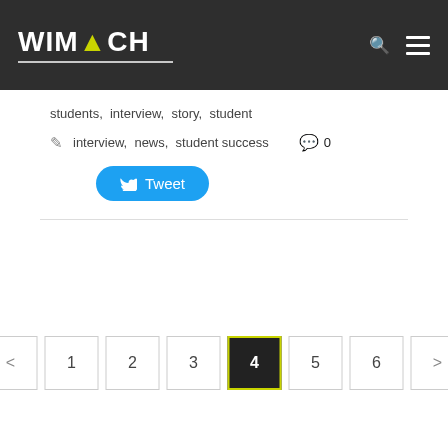WIMTACH
students, interview, story, student
interview, news, student success  0
Tweet
< 1 2 3 4 5 6 >